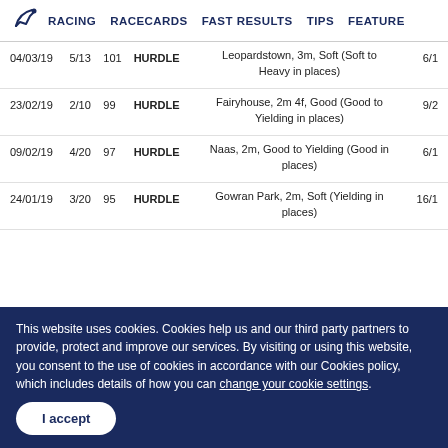RACING  RACECARDS  FAST RESULTS  TIPS  FEATURE
| Date | Pos | Rtg | Type | Venue/Conditions | Odds |
| --- | --- | --- | --- | --- | --- |
| 04/03/19 | 5/13 | 101 | HURDLE | Leopardstown, 3m, Soft (Soft to Heavy in places) | 6/1 |
| 23/02/19 | 2/10 | 99 | HURDLE | Fairyhouse, 2m 4f, Good (Good to Yielding in places) | 9/2 |
| 09/02/19 | 4/20 | 97 | HURDLE | Naas, 2m, Good to Yielding (Good in places) | 6/1 |
| 24/01/19 | 3/20 | 95 | HURDLE | Gowran Park, 2m, Soft (Yielding in places) | 16/1 |
This website uses cookies. Cookies help us and our third party partners to provide, protect and improve our services. By visiting or using this website, you consent to the use of cookies in accordance with our Cookies policy, which includes details of how you can change your cookie settings.
I accept